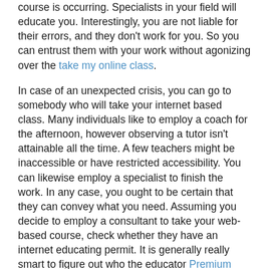course is occurring. Specialists in your field will educate you. Interestingly, you are not liable for their errors, and they don't work for you. So you can entrust them with your work without agonizing over the take my online class.
In case of an unexpected crisis, you can go to somebody who will take your internet based class. Many individuals like to employ a coach for the afternoon, however observing a tutor isn't attainable all the time. A few teachers might be inaccessible or have restricted accessibility. You can likewise employ a specialist to finish the work. In any case, you ought to be certain that they can convey what you need. Assuming you decide to employ a consultant to take your web-based course, check whether they have an internet educating permit. It is generally really smart to figure out who the educator Premium thesis help.